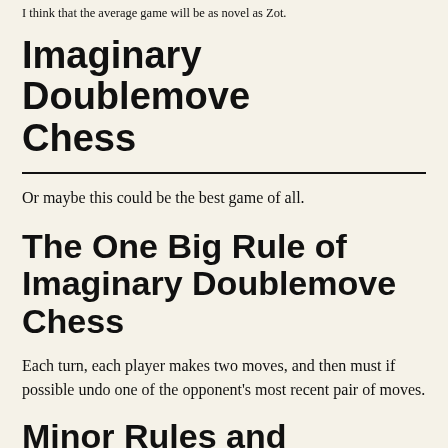I think that the average game will be as novel as Zot.
Imaginary Doublemove Chess
Or maybe this could be the best game of all.
The One Big Rule of Imaginary Doublemove Chess
Each turn, each player makes two moves, and then must if possible undo one of the opponent's most recent pair of moves.
Minor Rules and Clarifications